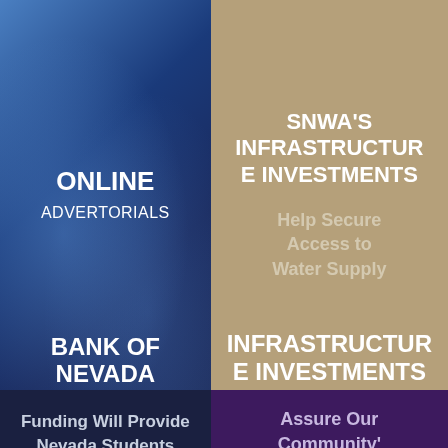ONLINE ADVERTORIALS
SNWA'S INFRASTRUCTURE INVESTMENTS
Help Secure Access to Water Supply
BANK OF NEVADA
Funding Will Provide Nevada Students With Financial Literacy Education
INFRASTRUCTURE INVESTMENTS
Assure Our Community's Water Future